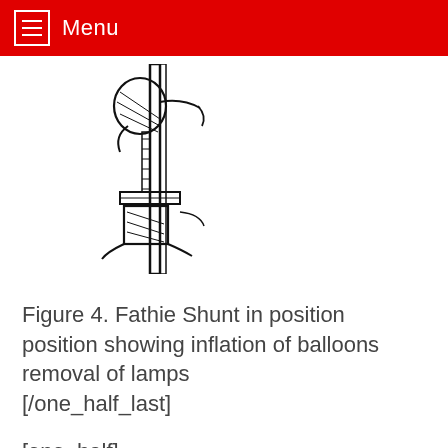Menu
[Figure (illustration): Line drawing of a Fathie Shunt device mounted on a vertical pole, showing inflated balloons and lamp removal mechanism. The device has a circular top element and hangs down with various components visible.]
Figure 4. Fathie Shunt in position position showing inflation of balloons removal of lamps [/one_half_last]
[one_half]